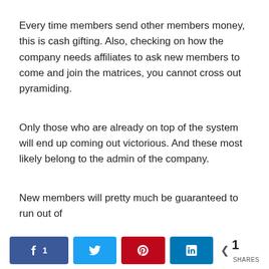Every time members send other members money, this is cash gifting. Also, checking on how the company needs affiliates to ask new members to come and join the matrices, you cannot cross out pyramiding.
Only those who are already on top of the system will end up coming out victorious. And these most likely belong to the admin of the company.
New members will pretty much be guaranteed to run out of
[Figure (infographic): Social share bar with Facebook (count: 1), Twitter, Pinterest, LinkedIn buttons and a total share count of 1 SHARES]